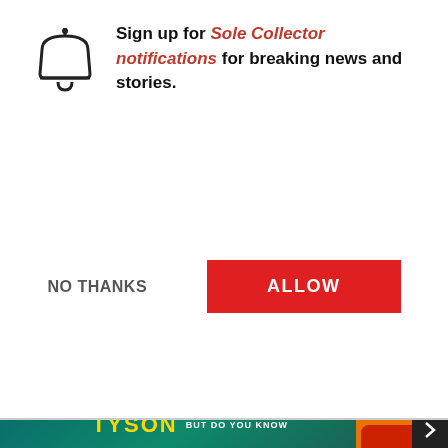Sign up for Sole Collector notifications for breaking news and stories.
NO THANKS
ALLOW
of.
"Imagine selling sto... sneakers. One guy c... of Google for $180 ... selling it for $400," e... know or feel good b... comps and the last sales.
[Figure (screenshot): Video card showing 'The Try Guys Break Down Their Favorite Snacks | Snacked' with three men reacting to snacks, Doritos and Swedish Fish visible in background]
The Try Guys Break Down TheirFavorite Snacks| Snacked
[Figure (advertisement): Tyson advertisement banner: YOU MAY KNOW TYSON BUT DO YOU KNOW in teal/gold colors]
The c... fers